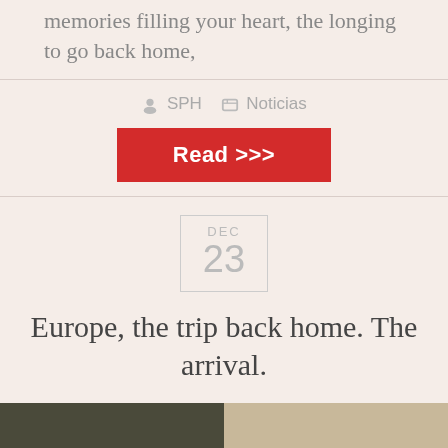memories filling your heart, the longing to go back home,
SPH   Noticias
Read >>>
DEC 23
Europe, the trip back home. The arrival.
[Figure (photo): Photo strip showing two images side by side — left: dark outdoor scene, right: lighter scene with objects on a table]